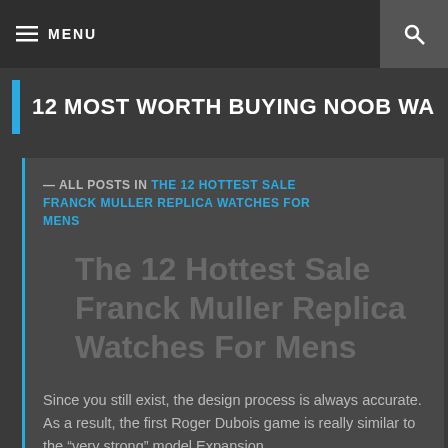≡ MENU
12 MOST WORTH BUYING NOOB WA
— ALL POSTS IN THE 12 HOTTEST SALE FRANCK MULLER REPLICA WATCHES FOR MENS
The 12 Hottest Sale Franck Muller Replica Watches For Mens
Since you still exist, the design process is always accurate. As a result, the first Roger Dubois game is really similar to the "very strong" model.Expansion